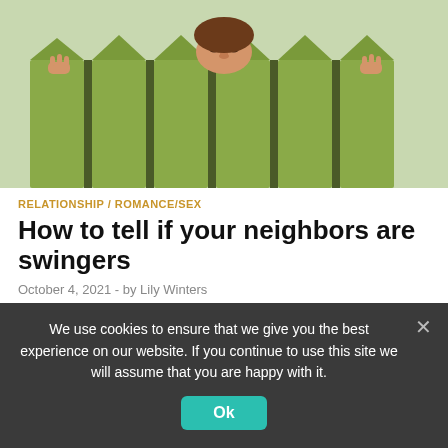[Figure (photo): Person peeking over a wooden fence, hands visible gripping the fence pickets, face barely visible above the top of the fence]
RELATIONSHIP / ROMANCE/SEX
How to tell if your neighbors are swingers
October 4, 2021  -  by Lily Winters
There’s a neighborhood in the next county over where the residents are known to be a little more “open.” And the rumors have been running rampant about the highly detailed …
We use cookies to ensure that we give you the best experience on our website. If you continue to use this site we will assume that you are happy with it.